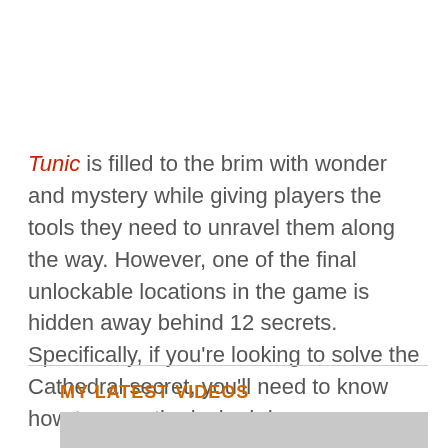Tunic is filled to the brim with wonder and mystery while giving players the tools they need to unravel them along the way. However, one of the final unlockable locations in the game is hidden away behind 12 secrets. Specifically, if you're looking to solve the Cathedral secret, you'll need to know how to open the locked door.
MY LATEST VIDEOS